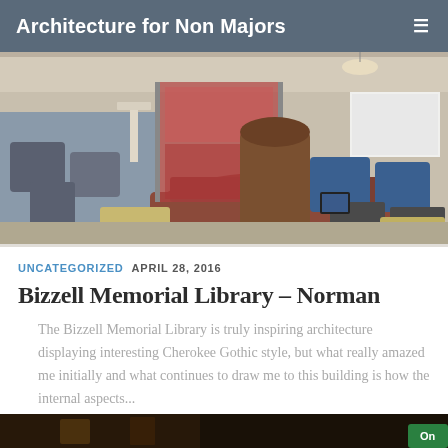Architecture for Non Majors
[Figure (photo): Interior of Bizzell Memorial Library showing modern lounge furniture, blue chairs, a curved reddish-brown sofa, and glass-walled study rooms in the background]
UNCATEGORIZED  APRIL 28, 2016
Bizzell Memorial Library – Norman
The Bizzell Memorial Library is truly inspiring architecture displaying interesting Cherokee Gothic style, but what really amazed me initially and what continues to draw me to this building is how the internal aspects...
[Figure (photo): Partial view of a second library interior photo at bottom of page]